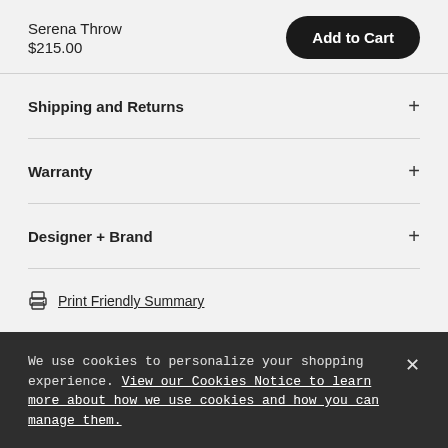Serena Throw
$215.00
Shipping and Returns
Warranty
Designer + Brand
Print Friendly Summary
We use cookies to personalize your shopping experience. View our Cookies Notice to learn more about how we use cookies and how you can manage them.